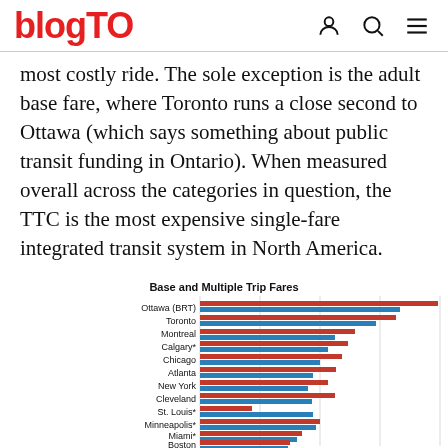blogTO
most costly ride. The sole exception is the adult base fare, where Toronto runs a close second to Ottawa (which says something about public transit funding in Ontario). When measured overall across the categories in question, the TTC is the most expensive single-fare integrated transit system in North America.
[Figure (bar-chart): Base and Multiple Trip Fares]